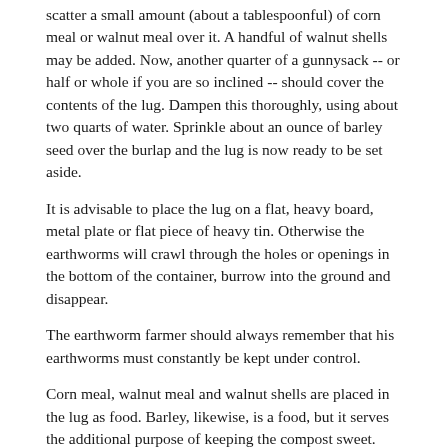scatter a small amount (about a tablespoonful) of corn meal or walnut meal over it. A handful of walnut shells may be added. Now, another quarter of a gunnysack -- or half or whole if you are so inclined -- should cover the contents of the lug. Dampen this thoroughly, using about two quarts of water. Sprinkle about an ounce of barley seed over the burlap and the lug is now ready to be set aside.
It is advisable to place the lug on a flat, heavy board, metal plate or flat piece of heavy tin. Otherwise the earthworms will crawl through the holes or openings in the bottom of the container, burrow into the ground and disappear.
The earthworm farmer should always remember that his earthworms must constantly be kept under control.
Corn meal, walnut meal and walnut shells are placed in the lug as food. Barley, likewise, is a food, but it serves the additional purpose of keeping the compost sweet.
When the 216 spawn bricks have been emptied into twelve lugs -- eighteen to a lug (prepared as described